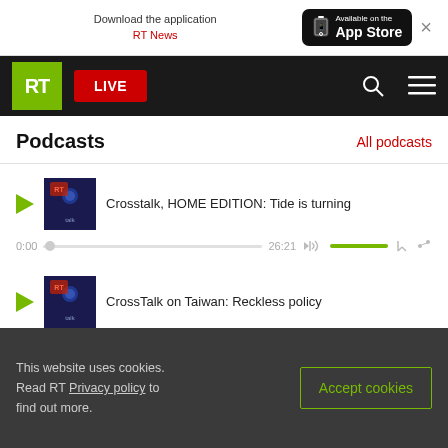[Figure (screenshot): App Store download banner with RT News text and Available on the App Store badge, close button]
[Figure (screenshot): RT website navigation bar with green RT logo, red LIVE button, search icon, and hamburger menu]
Podcasts
All podcasts
Crosstalk, HOME EDITION: Tide is turning
0:00  26:21
CrossTalk on Taiwan: Reckless policy
0:00  24:2
This website uses cookies. Read RT Privacy policy to find out more.
Accept cookies